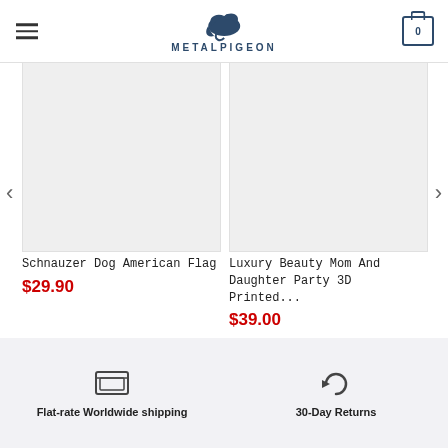METALPIGEON
[Figure (photo): Product image placeholder for Schnauzer Dog American Flag — light gray rectangle]
Schnauzer Dog American Flag
$29.90
[Figure (photo): Product image placeholder for Luxury Beauty Mom And Daughter Party 3D Printed — light gray rectangle]
Luxury Beauty Mom And Daughter Party 3D Printed...
$39.00
Flat-rate Worldwide shipping
30-Day Returns